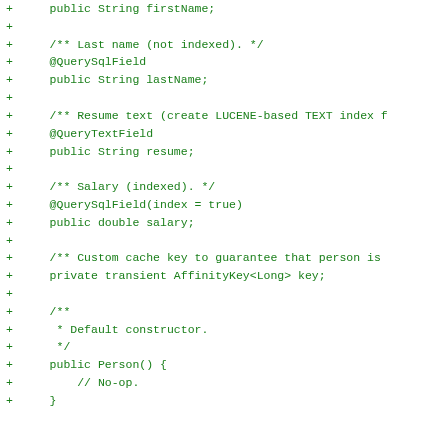[Figure (screenshot): Code diff showing Java class fields and constructor in green monospace font on white background. Lines show: public String firstName; (truncated at top), blank plus line, /** Last name (not indexed). */ comment, @QuerySqlField annotation, public String lastName;, blank plus line, /** Resume text (create LUCENE-based TEXT index...) comment, @QueryTextField annotation, public String resume;, blank plus line, /** Salary (indexed). */ comment, @QuerySqlField(index = true) annotation, public double salary;, blank plus line, /** Custom cache key to guarantee that person is... comment, private transient AffinityKey<Long> key;, blank plus line, /** comment, * Default constructor. comment line, */ comment, public Person() { , // No-op. comment, + }]